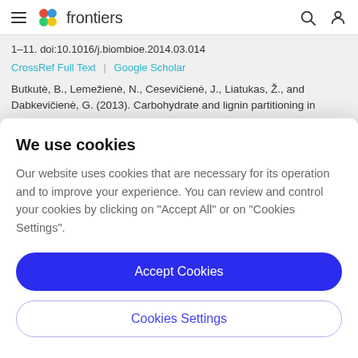frontiers
1–11. doi:10.1016/j.biombioe.2014.03.014
CrossRef Full Text | Google Scholar
Butkutė, B., Lemežienė, N., Cesevičienė, J., Liatukas, Ž., and Dabkevičienė, G. (2013). Carbohydrate and lignin partitioning in
We use cookies
Our website uses cookies that are necessary for its operation and to improve your experience. You can review and control your cookies by clicking on "Accept All" or on "Cookies Settings".
Accept Cookies
Cookies Settings